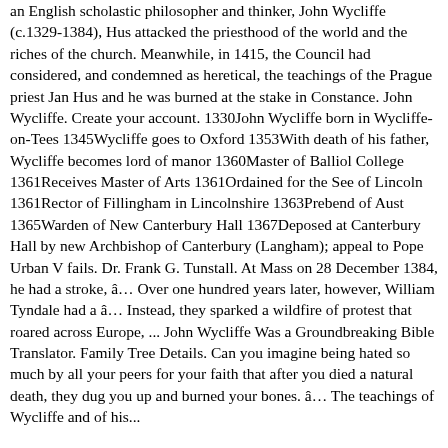an English scholastic philosopher and thinker, John Wycliffe (c.1329-1384), Hus attacked the priesthood of the world and the riches of the church. Meanwhile, in 1415, the Council had considered, and condemned as heretical, the teachings of the Prague priest Jan Hus and he was burned at the stake in Constance. John Wycliffe. Create your account. 1330John Wycliffe born in Wycliffe-on-Tees 1345Wycliffe goes to Oxford 1353With death of his father, Wycliffe becomes lord of manor 1360Master of Balliol College 1361Receives Master of Arts 1361Ordained for the See of Lincoln 1361Rector of Fillingham in Lincolnshire 1363Prebend of Aust 1365Warden of New Canterbury Hall 1367Deposed at Canterbury Hall by new Archbishop of Canterbury (Langham); appeal to Pope Urban V fails. Dr. Frank G. Tunstall. At Mass on 28 December 1384, he had a stroke, â… Over one hundred years later, however, William Tyndale had a â… Instead, they sparked a wildfire of protest that roared across Europe, ... John Wycliffe Was a Groundbreaking Bible Translator. Family Tree Details. Can you imagine being hated so much by all your peers for your faith that after you died a natural death, they dug you up and burned your bones. â… The teachings of Wycliffe and of his...